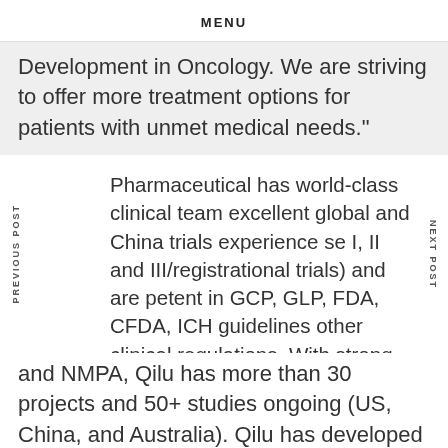MENU
Development in Oncology. We are striving to offer more treatment options for patients with unmet medical needs."
Pharmaceutical has world-class clinical team excellent global and China trials experience se I, II and III/registrational trials) and are petent in GCP, GLP, FDA, CFDA, ICH guidelines other clinical regulations. With strong and uring relationships established with top-tier K
and NMPA, Qilu has more than 30 projects and 50+ studies ongoing (US, China, and Australia). Qilu has developed a full innovative pipeline with competitive platforms/technologies in the treatment of major diseases, such as oncology, infectious disease...